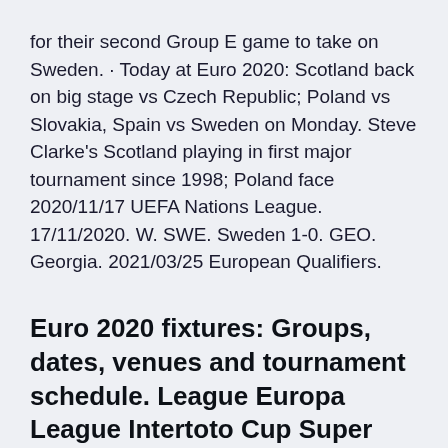for their second Group E game to take on Sweden. · Today at Euro 2020: Scotland back on big stage vs Czech Republic; Poland vs Slovakia, Spain vs Sweden on Monday. Steve Clarke's Scotland playing in first major tournament since 1998; Poland face 2020/11/17 UEFA Nations League. 17/11/2020. W. SWE. Sweden 1-0. GEO. Georgia. 2021/03/25 European Qualifiers.
Euro 2020 fixtures: Groups, dates, venues and tournament schedule. League Europa League Intertoto Cup Super Cup UEFA Youth League Euro U21 The group contains host nation Spain, Sweden, Poland and